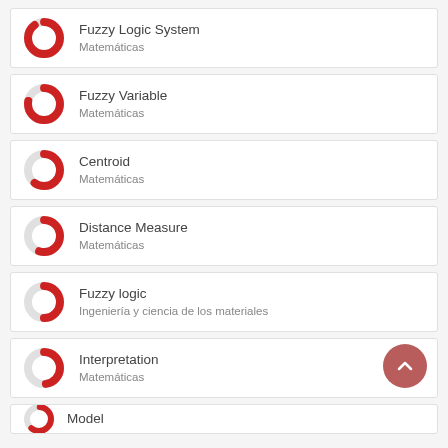Fuzzy Logic System
Matemáticas
Fuzzy Variable
Matemáticas
Centroid
Matemáticas
Distance Measure
Matemáticas
Fuzzy logic
Ingeniería y ciencia de los materiales
Interpretation
Matemáticas
Model